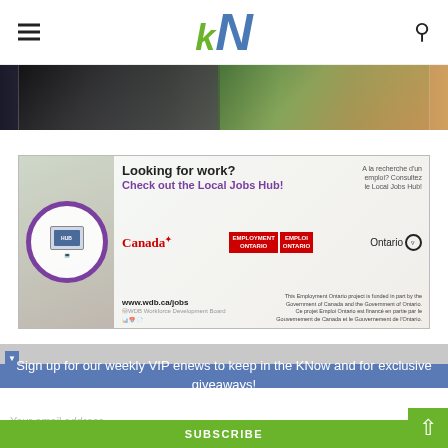kN (KapitolNews logo with hamburger menu and search icon)
[Figure (photo): Banner photo strip showing people working and food items]
[Figure (infographic): Advertisement for Local Jobs Hub. Looking for work? Check out the Local Jobs Hub! A la recherche d'un emploi? Consultez le Local Jobs Hub! www.wdb.ca/jobs. Canada, Employment Ontario, Emploi Ontario, Ontario logos. This Employment Ontario project is funded in part by the Government of Canada and the Government of Ontario. Ce projet Emploi Ontario est financé en partie par le Gouvernement de Canada et le Gouvernement de l'Ontario.]
Sign up for our weekly VIP enews to keep in the KNow and for exclusive giveaways!
Your email address..
SUBSCRIBE